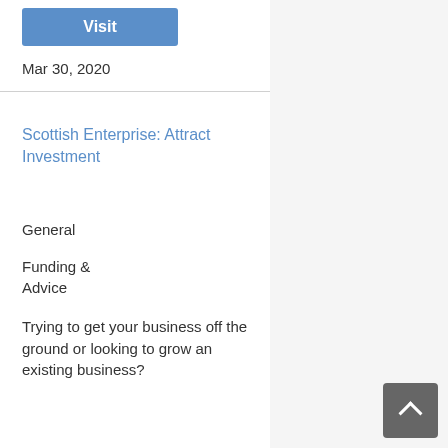[Figure (other): Blue 'Visit' button]
Mar 30, 2020
Scottish Enterprise: Attract Investment
General
Funding & Advice
Trying to get your business off the ground or looking to grow an existing business?